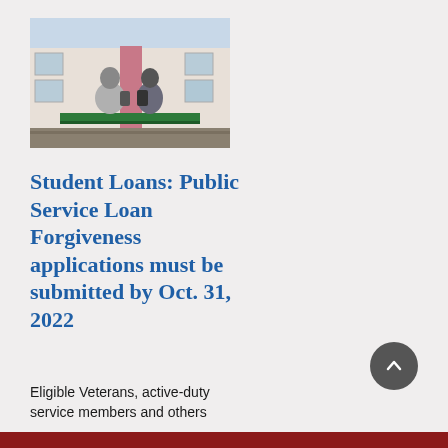[Figure (photo): Two students sitting on a bench outside a school building, viewed from behind]
Student Loans: Public Service Loan Forgiveness applications must be submitted by Oct. 31, 2022
Eligible Veterans, active-duty service members and others can access their